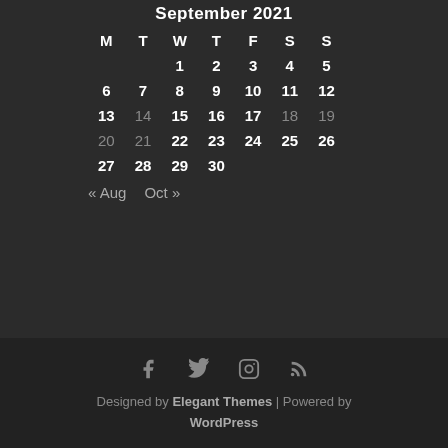September 2021
| M | T | W | T | F | S | S |
| --- | --- | --- | --- | --- | --- | --- |
|  |  | 1 | 2 | 3 | 4 | 5 |
| 6 | 7 | 8 | 9 | 10 | 11 | 12 |
| 13 | 14 | 15 | 16 | 17 | 18 | 19 |
| 20 | 21 | 22 | 23 | 24 | 25 | 26 |
| 27 | 28 | 29 | 30 |  |  |  |
« Aug   Oct »
Designed by Elegant Themes | Powered by WordPress